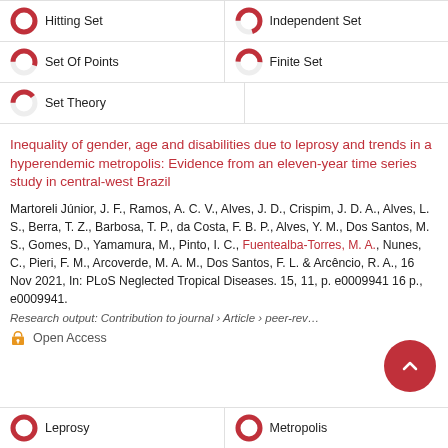[Figure (donut-chart): Donut chart ~100% red next to 'Hitting Set' keyword tag]
Hitting Set
[Figure (donut-chart): Donut chart ~70% red next to 'Independent Set' keyword tag]
Independent Set
[Figure (donut-chart): Donut chart ~55% red next to 'Set Of Points' keyword tag]
Set Of Points
[Figure (donut-chart): Donut chart ~50% red next to 'Finite Set' keyword tag]
Finite Set
[Figure (donut-chart): Donut chart ~40% red next to 'Set Theory' keyword tag]
Set Theory
Inequality of gender, age and disabilities due to leprosy and trends in a hyperendemic metropolis: Evidence from an eleven-year time series study in central-west Brazil
Martoreli Júnior, J. F., Ramos, A. C. V., Alves, J. D., Crispim, J. D. A., Alves, L. S., Berra, T. Z., Barbosa, T. P., da Costa, F. B. P., Alves, Y. M., Dos Santos, M. S., Gomes, D., Yamamura, M., Pinto, I. C., Fuentealba-Torres, M. A., Nunes, C., Pieri, F. M., Arcoverde, M. A. M., Dos Santos, F. L. & Arcêncio, R. A., 16 Nov 2021, In: PLoS Neglected Tropical Diseases. 15, 11, p. e0009941 16 p., e0009941.
Research output: Contribution to journal › Article › peer-reviewed
Open Access
[Figure (donut-chart): Donut chart ~100% red next to 'Leprosy' keyword tag]
Leprosy
[Figure (donut-chart): Donut chart ~100% red next to 'Metropolis' keyword tag]
Metropolis